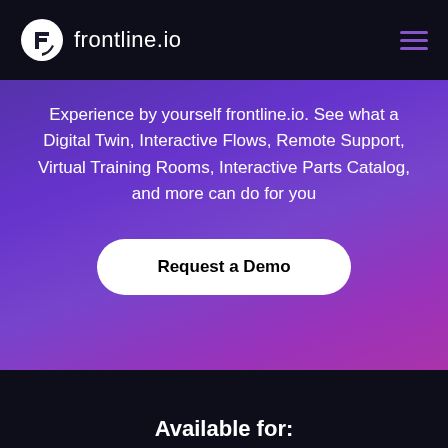[Figure (logo): frontline.io logo with circular F icon in white on dark navy background, and hamburger menu icon in purple on the right]
Experience by yourself frontline.io. See what a Digital Twin, Interactive Flows, Remote Support, Virtual Training Rooms, Interactive Parts Catalog, and more can do for you
[Figure (other): Request a Demo button — white rounded rectangle with bold black text]
Available for: